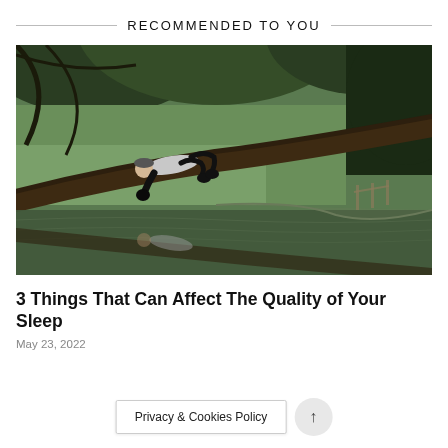RECOMMENDED TO YOU
[Figure (photo): Person lying on a fallen tree branch over a reflective pond or lake, surrounded by green trees and foliage. The reflection of the person and tree is visible in the still water below.]
3 Things That Can Affect The Quality of Your Sleep
May 23, 2022
Privacy & Cookies Policy